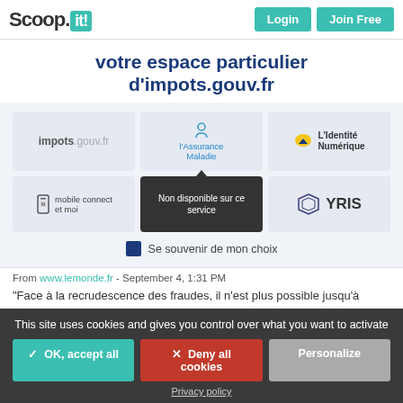Scoop.it! Login Join Free
votre espace particulier d'impots.gouv.fr
[Figure (screenshot): Login options grid: impots.gouv.fr, l'Assurance Maladie, L'Identité Numérique, mobile connect et moi, Non disponible sur ce service (dark tooltip), YRIS]
Se souvenir de mon choix
From www.lemonde.fr - September 4, 1:31 PM
"Face à la recrudescence des fraudes, il n'est plus possible jusqu'à nouvel ordre d'effectuer ses différentes démarches administratives
This site uses cookies and gives you control over what you want to activate
✓ OK, accept all
✕ Deny all cookies
Personalize
Privacy policy